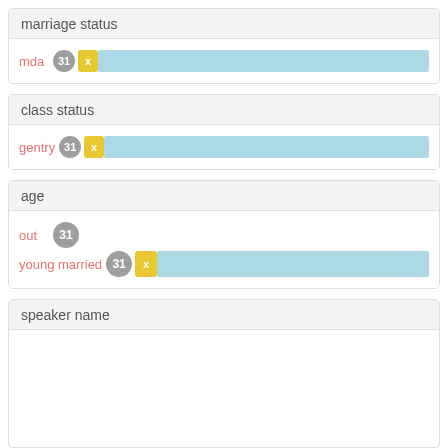marriage status
mda 31 x
class status
gentry 31 x
age
out 31
young married 31 x
speaker name